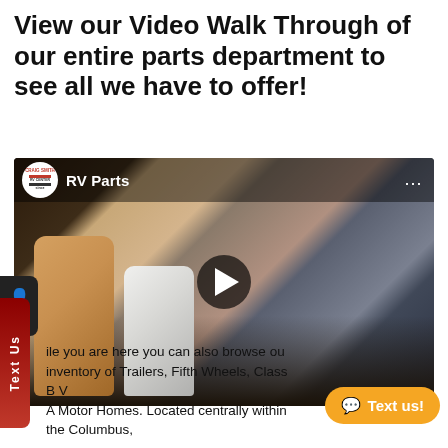View our Video Walk Through of our entire parts department to see all we have to offer!
[Figure (screenshot): Embedded video player showing Craig Smith RV Center 'RV Parts' video. The thumbnail shows the interior of the RV parts department with bottles, containers, and shelving units. A circular play button is centered on the video. The video player has a top bar with the Craig Smith RV Center logo and channel name 'RV Parts'.]
ile you are here you can also browse ou...entory of Trailers, Fifth Wheels, Class B V... A Motor Homes. Located centrally within the Columbus,